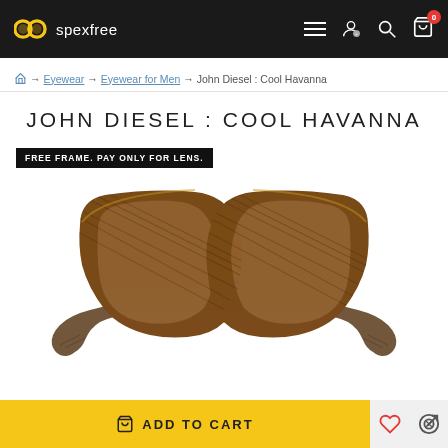spexfree — navigation bar with logo, hamburger menu, account, search, cart (0)
Home → Eyewear → Eyewear for Men → John Diesel : Cool Havanna
JOHN DIESEL : COOL HAVANNA
FREE FRAME. PAY ONLY FOR LENS.
[Figure (photo): Front view of John Diesel Cool Havanna eyeglasses with thick brown/havana patterned frames on white background]
ADD TO CART